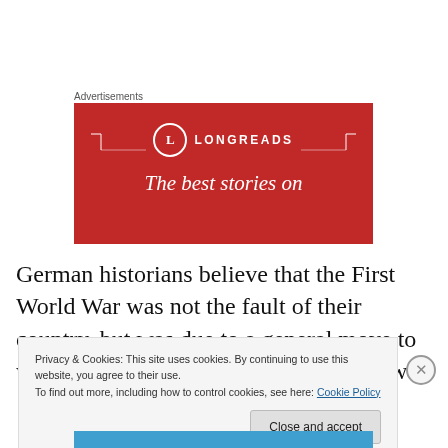Advertisements
[Figure (illustration): Longreads advertisement banner with red background, circular L logo, decorative bracket lines, site name LONGREADS, and tagline 'The best stories on']
German historians believe that the First World War was not the fault of their country, but was due to a general move to war across Europe as a whole. This view is
Privacy & Cookies: This site uses cookies. By continuing to use this website, you agree to their use.
To find out more, including how to control cookies, see here: Cookie Policy